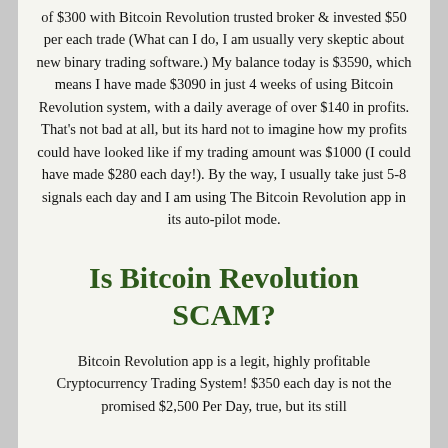of $300 with Bitcoin Revolution trusted broker & invested $50 per each trade (What can I do, I am usually very skeptic about new binary trading software.) My balance today is $3590, which means I have made $3090 in just 4 weeks of using Bitcoin Revolution system, with a daily average of over $140 in profits. That's not bad at all, but its hard not to imagine how my profits could have looked like if my trading amount was $1000 (I could have made $280 each day!). By the way, I usually take just 5-8 signals each day and I am using The Bitcoin Revolution app in its auto-pilot mode.
Is Bitcoin Revolution SCAM?
Bitcoin Revolution app is a legit, highly profitable Cryptocurrency Trading System! $350 each day is not the promised $2,500 Per Day, true, but its still